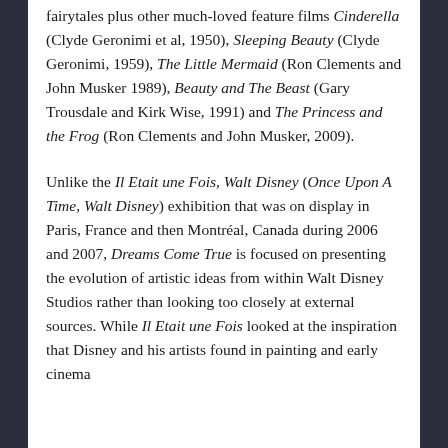fairytales plus other much-loved feature films Cinderella (Clyde Geronimi et al, 1950), Sleeping Beauty (Clyde Geronimi, 1959), The Little Mermaid (Ron Clements and John Musker 1989), Beauty and The Beast (Gary Trousdale and Kirk Wise, 1991) and The Princess and the Frog (Ron Clements and John Musker, 2009).
Unlike the Il Etait une Fois, Walt Disney (Once Upon A Time, Walt Disney) exhibition that was on display in Paris, France and then Montréal, Canada during 2006 and 2007, Dreams Come True is focused on presenting the evolution of artistic ideas from within Walt Disney Studios rather than looking too closely at external sources. While Il Etait une Fois looked at the inspiration that Disney and his artists found in painting and early cinema